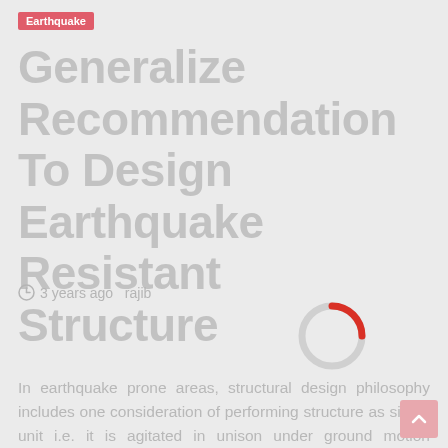Earthquake
Generalize Recommendation To Design Earthquake Resistant Structure
3 years ago  rajib
[Figure (other): Loading spinner graphic — a circular ring with a red arc segment at the top and light grey remainder, indicating page loading state.]
In earthquake prone areas, structural design philosophy includes one consideration of performing structure as single unit i.e. it is agitated in unison under ground motion generated by earthquake vibration. It should in mind that both in design and construction this